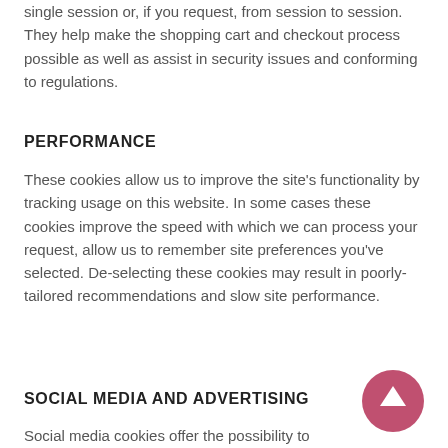single session or, if you request, from session to session. They help make the shopping cart and checkout process possible as well as assist in security issues and conforming to regulations.
PERFORMANCE
These cookies allow us to improve the site's functionality by tracking usage on this website. In some cases these cookies improve the speed with which we can process your request, allow us to remember site preferences you've selected. De-selecting these cookies may result in poorly-tailored recommendations and slow site performance.
SOCIAL MEDIA AND ADVERTISING
Social media cookies offer the possibility to